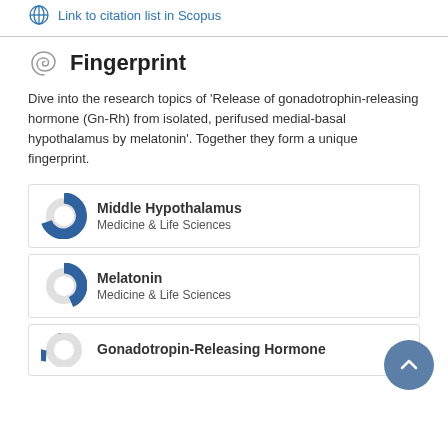Link to citation list in Scopus
Fingerprint
Dive into the research topics of 'Release of gonadotrophin-releasing hormone (Gn-Rh) from isolated, perifused medial-basal hypothalamus by melatonin'. Together they form a unique fingerprint.
Middle Hypothalamus — Medicine & Life Sciences
Melatonin — Medicine & Life Sciences
Gonadotropin-Releasing Hormone